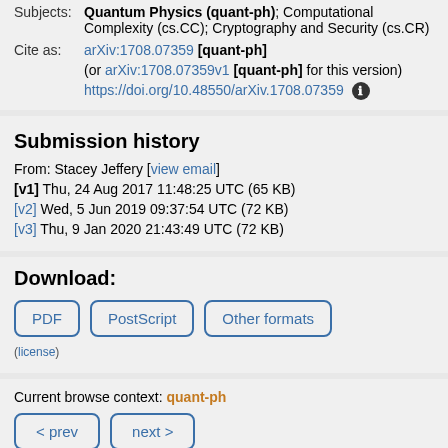Subjects: Quantum Physics (quant-ph); Computational Complexity (cs.CC); Cryptography and Security (cs.CR)
Cite as: arXiv:1708.07359 [quant-ph] (or arXiv:1708.07359v1 [quant-ph] for this version) https://doi.org/10.48550/arXiv.1708.07359
Submission history
From: Stacey Jeffery [view email]
[v1] Thu, 24 Aug 2017 11:48:25 UTC (65 KB)
[v2] Wed, 5 Jun 2019 09:37:54 UTC (72 KB)
[v3] Thu, 9 Jan 2020 21:43:49 UTC (72 KB)
Download:
PDF PostScript Other formats
(license)
Current browse context: quant-ph
< prev   next >
new   recent   1708